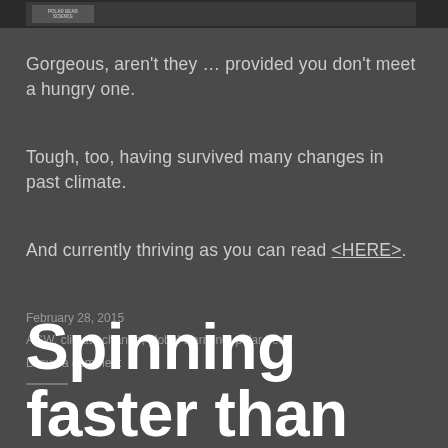[Figure (photo): Top strip showing partial image with logo/header — dark background with small logo box at left]
Gorgeous, aren't they … provided you don't meet a hungry one.
Tough, too, having survived many changes in past climate.
And currently thriving as you can read <HERE>.
February 28, 2015
AGW, climate change, global warming, polar bear
Leave a comment
Spinning faster than